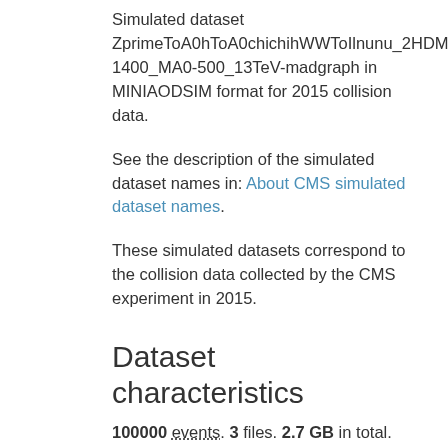Simulated dataset ZprimeToA0hToA0chichihWWToIlnunu_2HDM_MZp-1400_MA0-500_13TeV-madgraph in MINIAODSIM format for 2015 collision data.
See the description of the simulated dataset names in: About CMS simulated dataset names.
These simulated datasets correspond to the collision data collected by the CMS experiment in 2015.
Dataset characteristics
100000 events. 3 files. 2.7 GB in total.
System details
Recommended global tag for analysis: